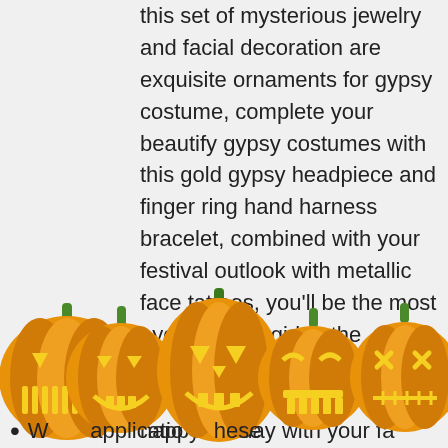this set of mysterious jewelry and facial decoration are exquisite ornaments for gypsy costume, complete your beautify gypsy costumes with this gold gypsy headpiece and finger ring hand harness bracelet, combined with your festival outlook with metallic face tattoos, you'll be the most eye-catching girl at the Halloween party and makes you spend a impressive and happy holiday with your family
[Figure (illustration): Five carved Halloween jack-o-lantern pumpkins in a row with glowing yellow faces and green stems, partially overlapping a bullet point line of text at the bottom.]
Wide application: these